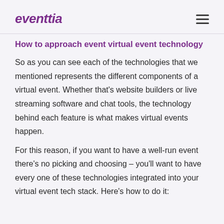eventtia
How to approach event virtual event technology
So as you can see each of the technologies that we mentioned represents the different components of a virtual event. Whether that’s website builders or live streaming software and chat tools, the technology behind each feature is what makes virtual events happen.
For this reason, if you want to have a well-run event there’s no picking and choosing – you’ll want to have every one of these technologies integrated into your virtual event tech stack. Here’s how to do it: